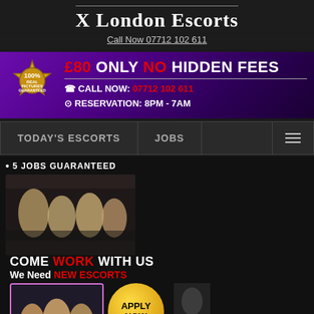X London Escorts
Call Now 07712 102 611
[Figure (infographic): Purple promotional banner with gold badge showing 100% Real Pictures Guaranteed, text: £80 ONLY NO HIDDEN FEES, CALL NOW: 07712 102 611, RESERVATION: 8PM - 7AM]
TODAY'S ESCORTS   JOBS   ≡
[Figure (infographic): Jobs recruitment banner with two group photos of women, Apply Now gold button, Come Work With Us text in white and red, We Need NEW ESCORTS, Drivers Wanted Too, 5 JOBS GUARANTEED bullet]
CHEAP NAUGHTY ESCORTS